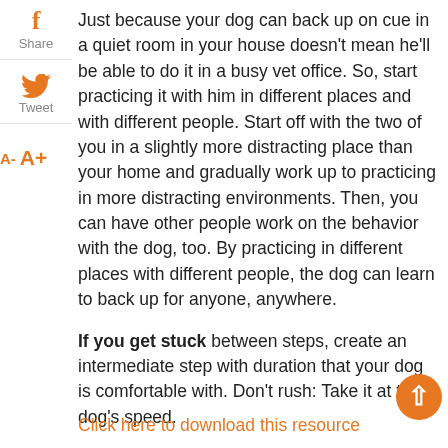[Figure (other): Facebook share icon with 'Share' label]
[Figure (other): Twitter tweet icon with 'Tweet' label]
[Figure (other): Font resize controls: A- and A+]
Just because your dog can back up on cue in a quiet room in your house doesn't mean he'll be able to do it in a busy vet office. So, start practicing it with him in different places and with different people. Start off with the two of you in a slightly more distracting place than your home and gradually work up to practicing in more distracting environments. Then, you can have other people work on the behavior with the dog, too. By practicing in different places with different people, the dog can learn to back up for anyone, anywhere.
If you get stuck between steps, create an intermediate step with duration that your dog is comfortable with. Don't rush: Take it at the dog's speed.
Click here to download this resource